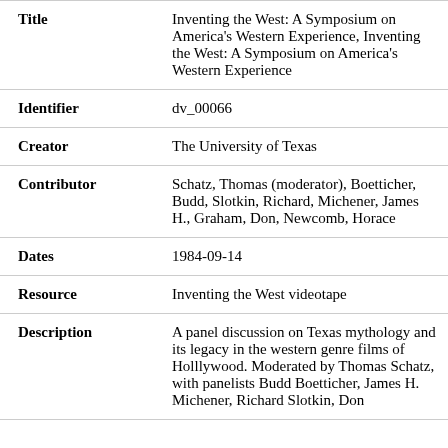| Field | Value |
| --- | --- |
| Title | Inventing the West: A Symposium on America's Western Experience, Inventing the West: A Symposium on America's Western Experience |
| Identifier | dv_00066 |
| Creator | The University of Texas |
| Contributor | Schatz, Thomas (moderator), Boetticher, Budd, Slotkin, Richard, Michener, James H., Graham, Don, Newcomb, Horace |
| Dates | 1984-09-14 |
| Resource | Inventing the West videotape |
| Description | A panel discussion on Texas mythology and its legacy in the western genre films of Holllywood. Moderated by Thomas Schatz, with panelists Budd Boetticher, James H. Michener, Richard Slotkin, Don |